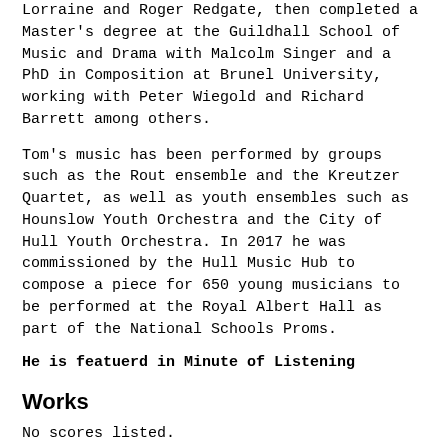Lorraine and Roger Redgate, then completed a Master's degree at the Guildhall School of Music and Drama with Malcolm Singer and a PhD in Composition at Brunel University, working with Peter Wiegold and Richard Barrett among others.
Tom's music has been performed by groups such as the Rout ensemble and the Kreutzer Quartet, as well as youth ensembles such as Hounslow Youth Orchestra and the City of Hull Youth Orchestra. In 2017 he was commissioned by the Hull Music Hub to compose a piece for 650 young musicians to be performed at the Royal Albert Hall as part of the National Schools Proms.
He is featuerd in Minute of Listening
Works
No scores listed.
Tags